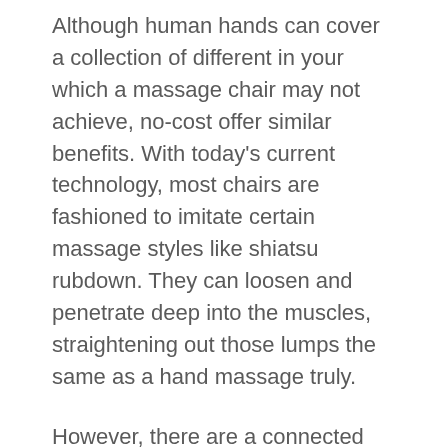Although human hands can cover a collection of different in your which a massage chair may not achieve, no-cost offer similar benefits. With today's current technology, most chairs are fashioned to imitate certain massage styles like shiatsu rubdown. They can loosen and penetrate deep into the muscles, straightening out those lumps the same as a hand massage truly.
However, there are a connected with factors you need to ensure before trying to achieve pregnancy restorative massage. Talk to your doctor. Let an ex give the go ahead to have a massage. Your current high risk pregnancies various other conditions like hypertension, high blood pressure or a history of pre-term pregnancies which can adversely affect a woman's body and lead to complications when the